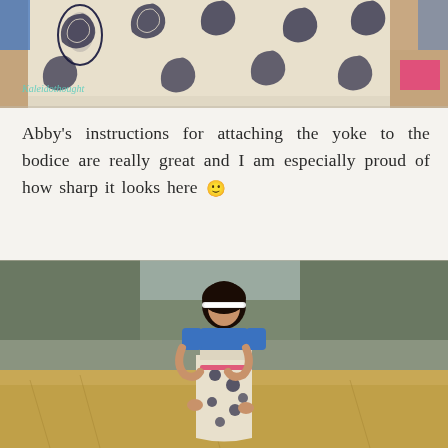[Figure (photo): Close-up photo of a child's dress showing white fabric with dark blue/black paisley print pattern, with a blue sleeve visible. Watermark reads 'Kaleidothought' in teal cursive.]
Abby's instructions for attaching the yoke to the bodice are really great and I am especially proud of how sharp it looks here 🙂
[Figure (photo): Photo of a young girl with dark hair wearing a white lace headband, dressed in a blue shirt and white dress with dark paisley print. She is standing outdoors on dry grass with a blurred natural background.]